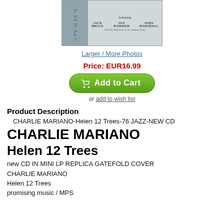[Figure (photo): Album cover image for Charlie Mariano Helen 12 Trees, grey/blue toned cover art with Japanese text and illustrated figures]
Larger / More Photos
Price: EUR16.99
Add to Cart
or add to wish list
Product Description
CHARLIE MARIANO-Helen 12 Trees-76 JAZZ-NEW CD
CHARLIE MARIANO
Helen 12 Trees
new CD IN MINI LP REPLICA GATEFOLD COVER
CHARLIE MARIANO
Helen 12 Trees
promising music / MPS